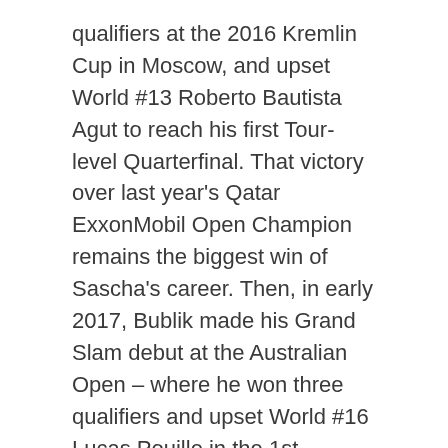qualifiers at the 2016 Kremlin Cup in Moscow, and upset World #13 Roberto Bautista Agut to reach his first Tour-level Quarterfinal. That victory over last year's Qatar ExxonMobil Open Champion remains the biggest win of Sascha's career. Then, in early 2017, Bublik made his Grand Slam debut at the Australian Open – where he won three qualifiers and upset World #16 Lucas Pouille in the 1st-Round. By September, he cracked the ATP's top-100 for the first time.
While 2018 proved bumpy, Bublik ended the season by winning his 3rd Challenger title. The victory set-up a remarkable 2019 where he won 3 more Challenger titles, reached his first two ATP Tour Finals, and cracked the ATP's top-50 for the first time. It was the first time he didn't have to qualify at